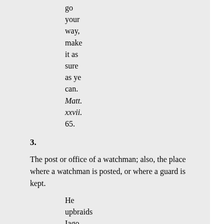go your way, make it as sure as ye can. Matt. xxvii. 65.
3.
The post or office of a watchman; also, the place where a watchman is posted, or where a guard is kept.
He upbraids Iago, that he made him Brave me upon the watch.